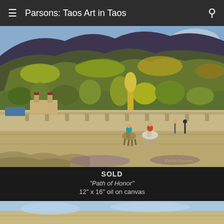Parsons: Taos Art in Taos
[Figure (photo): Oil painting depicting a southwestern landscape with adobe buildings, riders on horseback, yellow trees, and mountains in background. Signed by artist.]
SOLD
"Path of Honor"
12" x 16"  oil on canvas
[Figure (photo): Partial view of a second painting visible at the bottom of the page, appearing to show a light blue and tan desert landscape.]